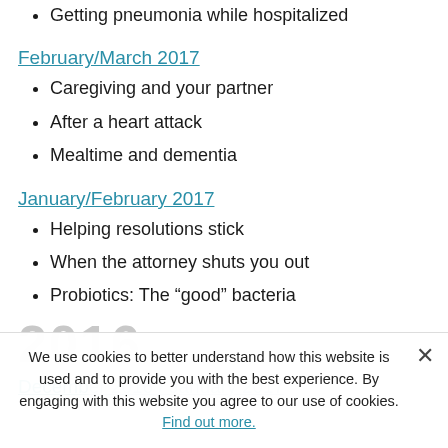Getting pneumonia while hospitalized
February/March 2017
Caregiving and your partner
After a heart attack
Mealtime and dementia
January/February 2017
Helping resolutions stick
When the attorney shuts you out
Probiotics: The “good” bacteria
2016
December 2016 / January 2017
We use cookies to better understand how this website is used and to provide you with the best experience. By engaging with this website you agree to our use of cookies. Find out more.